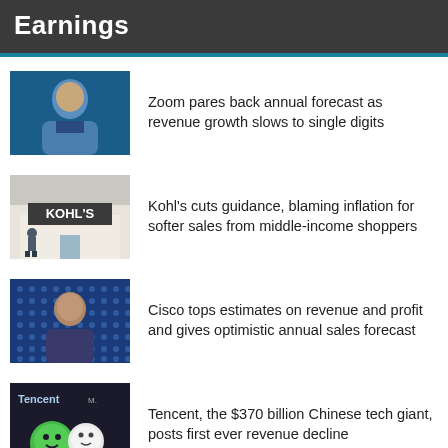Earnings
Zoom pares back annual forecast as revenue growth slows to single digits
Kohl's cuts guidance, blaming inflation for softer sales from middle-income shoppers
Cisco tops estimates on revenue and profit and gives optimistic annual sales forecast
Tencent, the $370 billion Chinese tech giant, posts first ever revenue decline
Target's earnings take a huge hit as retailer